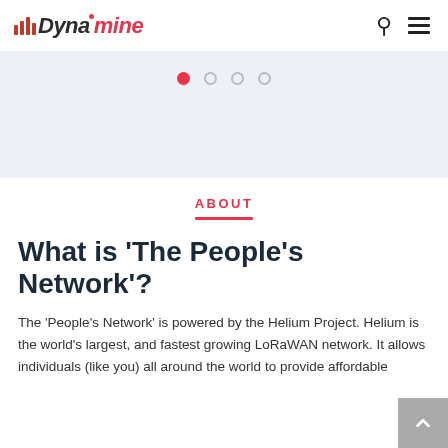Dynamine
[Figure (other): Slider carousel with 4 navigation dots, first dot active (red), rest empty circles, on a light blue-grey background]
ABOUT
What is 'The People's Network'?
The 'People's Network' is powered by the Helium Project. Helium is the world's largest, and fastest growing LoRaWAN network. It allows individuals (like you) all around the world to provide affordable